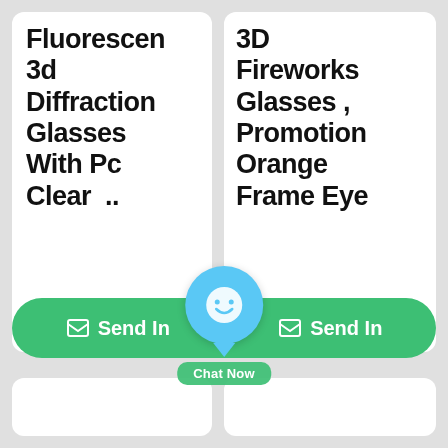Fluorescent 3d Diffraction Glasses With Pc Clear ..
3D Fireworks Glasses , Promotion Orange Frame Eye
[Figure (screenshot): Chat Now button overlay with blue circle icon and green Send Inquiry buttons spanning both product cards]
[Figure (screenshot): Empty white card bottom left]
[Figure (screenshot): Empty white card bottom right]